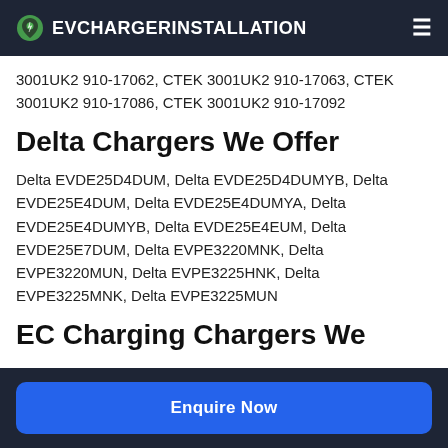EVCHARGERINSTALLATION
3001UK2 910-17062, CTEK 3001UK2 910-17063, CTEK 3001UK2 910-17086, CTEK 3001UK2 910-17092
Delta Chargers We Offer
Delta EVDE25D4DUM, Delta EVDE25D4DUMYB, Delta EVDE25E4DUM, Delta EVDE25E4DUMYA, Delta EVDE25E4DUMYB, Delta EVDE25E4EUM, Delta EVDE25E7DUM, Delta EVPE3220MNK, Delta EVPE3220MUN, Delta EVPE3225HNK, Delta EVPE3225MNK, Delta EVPE3225MUN
EC Charging Chargers We
Enquire Now